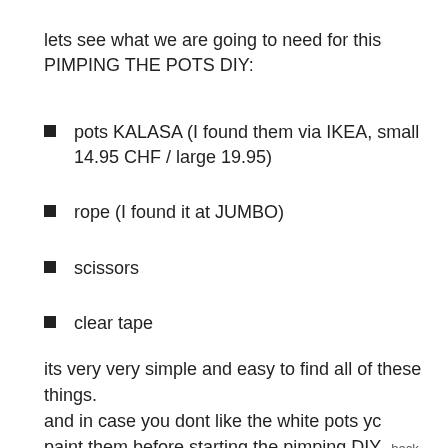lets see what we are going to need for this PIMPING THE POTS DIY:
pots KALASA (I found them via IKEA, small 14.95 CHF / large 19.95)
rope (I found it at JUMBO)
scissors
clear tape
its very very simple and easy to find all of these things. and in case you dont like the white pots yc paint them before starting the pimping DIY     back to top and therefore I leave them the way they are.